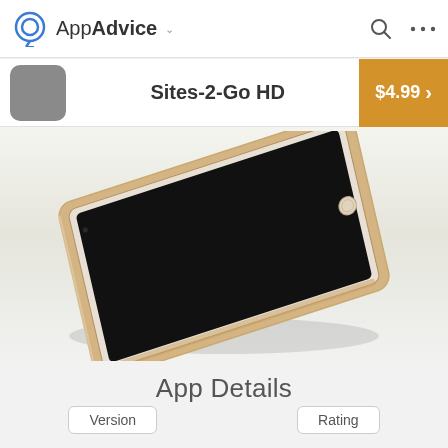AppAdvice
Sites-2-Go HD  $4.99 >
[Figure (photo): Apple iPad (gold/white) lying flat at a diagonal angle with black screen, on a light beige/cream background]
App Details
Version
Rating